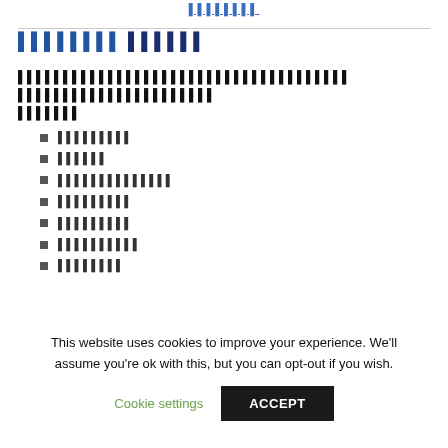▌▌▌▌▌▌▌▌
▌▌▌▌▌▌▌▌ ▌▌▌▌▌▌
▌▌▌▌▌▌▌▌▌▌▌▌▌▌▌▌▌▌▌▌▌▌▌▌▌▌▌▌▌▌▌▌▌▌▌▌▌ ▌▌▌▌▌▌▌▌▌▌▌▌▌▌▌▌▌▌▌▌▌▌▌▌▌▌▌▌▌
▌▌▌▌▌▌▌▌▌
▌▌▌▌▌▌
▌▌▌▌▌▌▌▌▌▌▌▌▌▌
▌▌▌▌▌▌▌▌▌
▌▌▌▌▌▌▌▌▌
▌▌▌▌▌▌▌▌▌▌
▌▌▌▌▌▌▌▌
This website uses cookies to improve your experience. We'll assume you're ok with this, but you can opt-out if you wish.
Cookie settings | ACCEPT